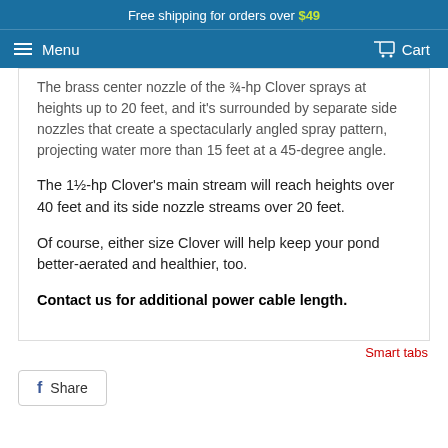Free shipping for orders over $49
The brass center nozzle of the ¾-hp Clover sprays at heights up to 20 feet, and it's surrounded by separate side nozzles that create a spectacularly angled spray pattern, projecting water more than 15 feet at a 45-degree angle.
The 1½-hp Clover's main stream will reach heights over 40 feet and its side nozzle streams over 20 feet.
Of course, either size Clover will help keep your pond better-aerated and healthier, too.
Contact us for additional power cable length.
Smart tabs
Share